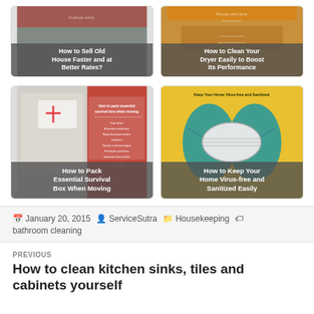[Figure (illustration): Card: How to Sell Old House Faster and at Better Rates? - blog post thumbnail with dark gray overlay and white title text]
[Figure (illustration): Card: How to Clean Your Dryer Easily to Boost Its Performance - blog post thumbnail with orange background and white title text]
[Figure (illustration): Card: How to Pack Essential Survival Box When Moving - blog post thumbnail with red/white infographic overlay and dark title text]
[Figure (illustration): Card: How to Keep Your Home Virus-free and Sanitized Easily - blog post thumbnail with yellow background showing gloved hands holding mask]
January 20, 2015  ServiceSutra  Housekeeping  bathroom cleaning
PREVIOUS
How to clean kitchen sinks, tiles and cabinets yourself